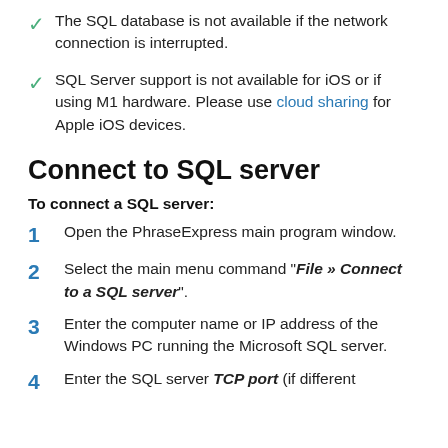The SQL database is not available if the network connection is interrupted.
SQL Server support is not available for iOS or if using M1 hardware. Please use cloud sharing for Apple iOS devices.
Connect to SQL server
To connect a SQL server:
1. Open the PhraseExpress main program window.
2. Select the main menu command "File » Connect to a SQL server".
3. Enter the computer name or IP address of the Windows PC running the Microsoft SQL server.
4. Enter the SQL server TCP port (if different